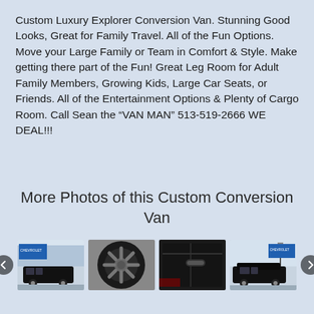Custom Luxury Explorer Conversion Van. Stunning Good Looks, Great for Family Travel. All of the Fun Options. Move your Large Family or Team in Comfort & Style. Make getting there part of the Fun! Great Leg Room for Adult Family Members, Growing Kids, Large Car Seats, or Friends. All of the Entertainment Options & Plenty of Cargo Room. Call Sean the “VAN MAN” 513-519-2666 WE DEAL!!!
More Photos of this Custom Conversion Van
[Figure (photo): Black conversion van parked in front of Chevrolet dealership]
[Figure (photo): Close-up of black wheel/tire on the conversion van]
[Figure (photo): Side door handle and body detail of the black conversion van]
[Figure (photo): Black conversion van parked at Chevrolet dealership, exterior side view]